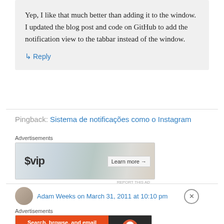Yep, I like that much better than adding it to the window. I updated the blog post and code on GitHub to add the notification view to the tabbar instead of the window.
↳ Reply
Pingback: Sistema de notificações como o Instagram
[Figure (screenshot): WordPress VIP advertisement banner with Learn more button and social media brand icons in background]
Adam Weeks on March 31, 2011 at 10:10 pm
[Figure (screenshot): DuckDuckGo advertisement banner: Search, browse, and email with more privacy. All in One Free App]